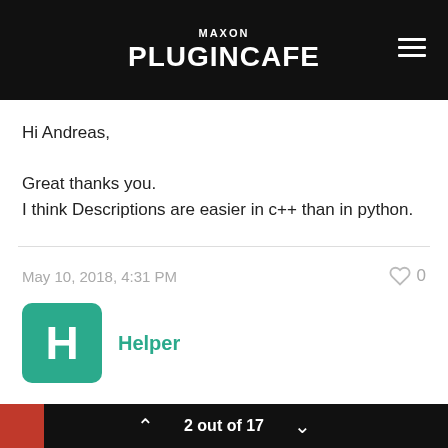MAXON PLUGINCAFE
Hi Andreas,

Great thanks you.
I think Descriptions are easier in c++ than in python.
May 10, 2018, 4:31 PM
Helper
On 23/08/2017 at 07:51, xxxxxxxx wrote:
2 out of 17